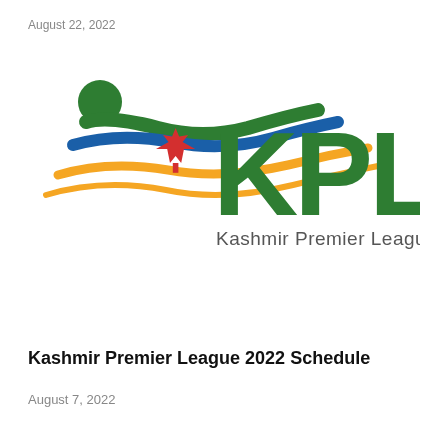August 22, 2022
[Figure (logo): Kashmir Premier League logo featuring a stylized human figure with green, blue, and yellow swoosh curves, a red maple leaf, and large green KPL letters with 'Kashmir Premier League' subtitle]
Kashmir Premier League 2022 Schedule
August 7, 2022